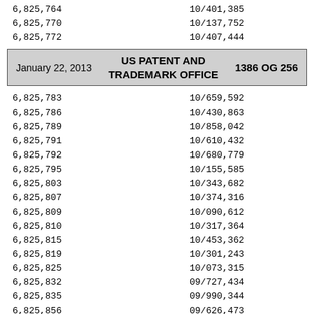6,825,764    10/401,385
6,825,770    10/137,752
6,825,772    10/407,444
January 22, 2013    US PATENT AND TRADEMARK OFFICE    1386 OG 256
6,825,783    10/659,592
6,825,786    10/430,863
6,825,789    10/858,042
6,825,791    10/610,432
6,825,792    10/680,779
6,825,795    10/155,585
6,825,803    10/343,682
6,825,807    10/374,316
6,825,809    10/090,612
6,825,810    10/317,364
6,825,815    10/453,362
6,825,819    10/301,243
6,825,825    10/073,315
6,825,832    09/727,434
6,825,835    09/990,344
6,825,856    09/626,473
6,825,865    10/346,735
6,825,869    10/704,918
6,825,871    10/377,051
6,825,879    09/249,109
6,825,885    10/240,914
6,825,887    09/886,314